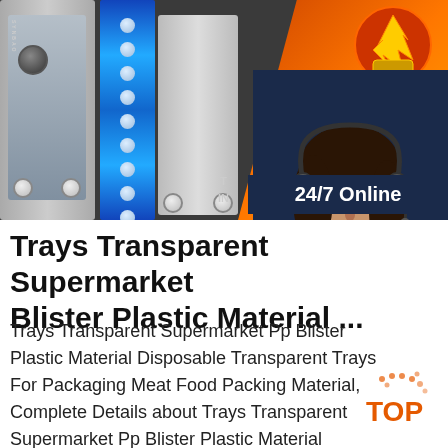[Figure (screenshot): Product listing page showing an industrial oven/food warming equipment on a dark background with '8 Hours Warm Keeping' text, a '24/7 Online' customer service chat overlay with a female agent photo, a 'Click here for free chat!' prompt, and an orange QUOTATION button. A TOP navigation button appears at bottom right.]
Trays Transparent Supermarket Blister Plastic Material ...
Trays Transparent Supermarket Pp Blister Plastic Material Disposable Transparent Trays For Packaging Meat Food Packing Material,Complete Details about Trays Transparent Supermarket Pp Blister Plastic Material Disposable Transparent Trays For Packaging Meat Food Packing Material,Meat Packaging,Meat Display Tray,Meat Food from Blister Packing Supplier or Manufacturer...